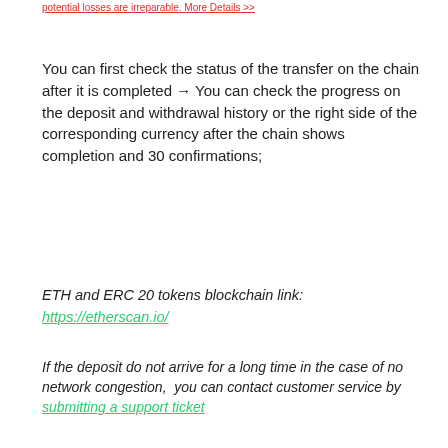potential losses are irreparable. More Details >>
You can first check the status of the transfer on the chain after it is completed → You can check the progress on the deposit and withdrawal history or the right side of the corresponding currency after the chain shows completion and 30 confirmations;
ETH and ERC 20 tokens blockchain link:
https://etherscan.io/
If the deposit do not arrive for a long time in the case of no network congestion,  you can contact customer service by submitting a support ticket
[Figure (screenshot): Screenshot of the Hotbit exchange platform interface showing the navigation menu with Account dropdown open displaying options: My fund, Deposit, Withdraw, Transaction History (highlighted). Below are tab options: Fund, Deposit, Withdraw, Transaction History (selected in orange border). Sub-tabs show: Recent History, Deposits History (selected with red border), Withdrawals History, Transfer Records, System Deposit, Other History.]